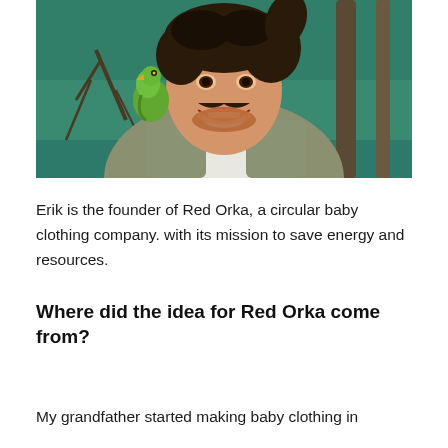[Figure (photo): A smiling young man with curly dark hair and a mustache, wearing a khaki jacket, blue bow tie, and scarf, with a green parrot perched on his shoulder. Background shows green netting and bare branches.]
Erik is the founder of Red Orka, a circular baby clothing company. with its mission to save energy and resources.
Where did the idea for Red Orka come from?
My grandfather started making baby clothing in